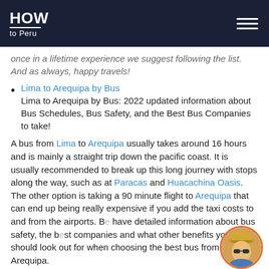HOW to Peru
once in a lifetime experience we suggest following the list. And as always, happy travels!
Lima to Arequipa by Bus — Lima to Arequipa by Bus: 2022 updated information about Bus Schedules, Bus Safety, and the Best Bus Companies to take!
A bus from Lima to Arequipa usually takes around 16 hours and is mainly a straight trip down the pacific coast. It is usually recommended to break up this long journey with stops along the way, such as at Paracas and Huacachina Oasis. The other option is taking a 90 minute flight to Arequipa that can end up being really expensive if you add the taxi costs to and from the airports. B... have detailed information about bus safety, the b... companies and what other benefits you should look out for when choosing the best bus from Lima to Arequipa.